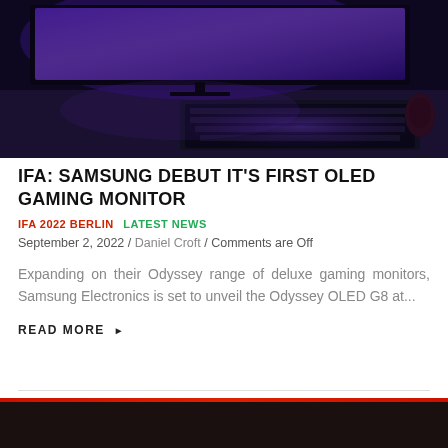[Figure (photo): Dark gaming setup with ultrawide monitor displaying purple-lit scene, RGB keyboard in the foreground, shot from above at an angle]
IFA: SAMSUNG DEBUT IT'S FIRST OLED GAMING MONITOR
IFA 2022 BERLIN  LATEST NEWS
September 2, 2022 / Daniel Croft / Comments are Off
Expanding on their Odyssey range of deluxe gaming monitors, Samsung Electronics is set to unveil the Odyssey OLED G8 at...
READ MORE ▸
[Figure (photo): Dark image with red strip at top, appears to be bottom portion of next article image]